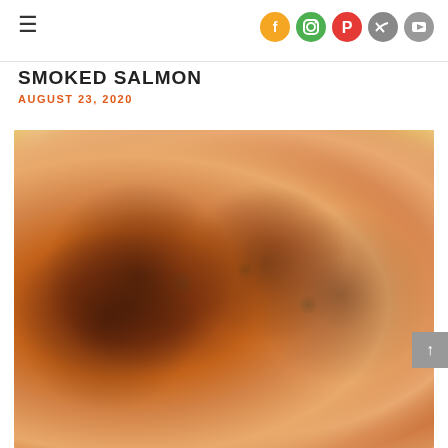Navigation menu and social media icons (Facebook, Instagram, Pinterest, Twitter, YouTube)
SMOKED SALMON
AUGUST 23, 2020
[Figure (photo): Close-up food photo of glazed chicken thighs piled on a white plate, with a bowl of dark honey glaze sauce and a honey dipper in the background, on a white marble surface with a yellow cloth napkin.]